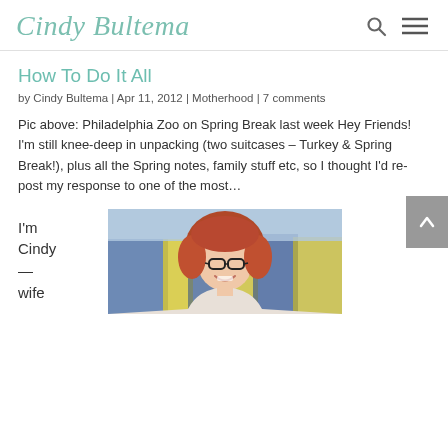Cindy Bultema
How To Do It All
by Cindy Bultema | Apr 11, 2012 | Motherhood | 7 comments
Pic above: Philadelphia Zoo on Spring Break last week Hey Friends! I'm still knee-deep in unpacking (two suitcases – Turkey & Spring Break!), plus all the Spring notes, family stuff etc, so I thought I'd re-post my response to one of the most…
I'm Cindy —
wife
[Figure (photo): Portrait photo of Cindy Bultema, a woman with red/auburn hair, glasses, smiling, wearing a light-colored top, with a blurred colorful background.]